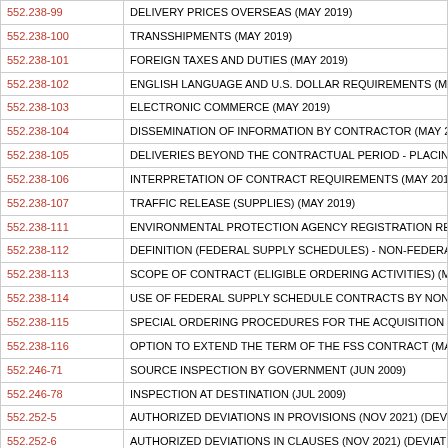| Code | Description |
| --- | --- |
| 552.238-99 | DELIVERY PRICES OVERSEAS (MAY 2019) |
| 552.238-100 | TRANSSHIPMENTS (MAY 2019) |
| 552.238-101 | FOREIGN TAXES AND DUTIES (MAY 2019) |
| 552.238-102 | ENGLISH LANGUAGE AND U.S. DOLLAR REQUIREMENTS (MAY 2019) |
| 552.238-103 | ELECTRONIC COMMERCE (MAY 2019) |
| 552.238-104 | DISSEMINATION OF INFORMATION BY CONTRACTOR (MAY 2019) |
| 552.238-105 | DELIVERIES BEYOND THE CONTRACTUAL PERIOD - PLACING OF OR... |
| 552.238-106 | INTERPRETATION OF CONTRACT REQUIREMENTS (MAY 2019) |
| 552.238-107 | TRAFFIC RELEASE (SUPPLIES) (MAY 2019) |
| 552.238-111 | ENVIRONMENTAL PROTECTION AGENCY REGISTRATION REQUIREM... |
| 552.238-112 | DEFINITION (FEDERAL SUPPLY SCHEDULES) - NON-FEDERAL ENTITY... |
| 552.238-113 | SCOPE OF CONTRACT (ELIGIBLE ORDERING ACTIVITIES) (MAY 2019) |
| 552.238-114 | USE OF FEDERAL SUPPLY SCHEDULE CONTRACTS BY NON-FEDERAL... |
| 552.238-115 | SPECIAL ORDERING PROCEDURES FOR THE ACQUISITION OF ORDER... |
| 552.238-116 | OPTION TO EXTEND THE TERM OF THE FSS CONTRACT (MAR 2022) |
| 552.246-71 | SOURCE INSPECTION BY GOVERNMENT (JUN 2009) |
| 552.246-78 | INSPECTION AT DESTINATION (JUL 2009) |
| 552.252-5 | AUTHORIZED DEVIATIONS IN PROVISIONS (NOV 2021) (DEVIATION F... |
| 552.252-6 | AUTHORIZED DEVIATIONS IN CLAUSES (NOV 2021) (DEVIATION FAR... |